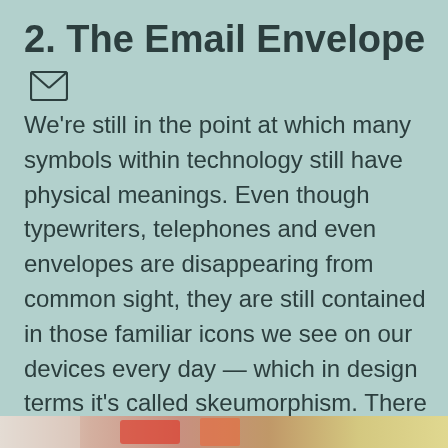2. The Email Envelope ✉
We're still in the point at which many symbols within technology still have physical meanings. Even though typewriters, telephones and even envelopes are disappearing from common sight, they are still contained in those familiar icons we see on our devices every day — which in design terms it's called skeumorphism. There are many other examples as the call and the shopping cart icons.
[Figure (photo): Bottom strip showing the top edge of a photograph with colorful objects]